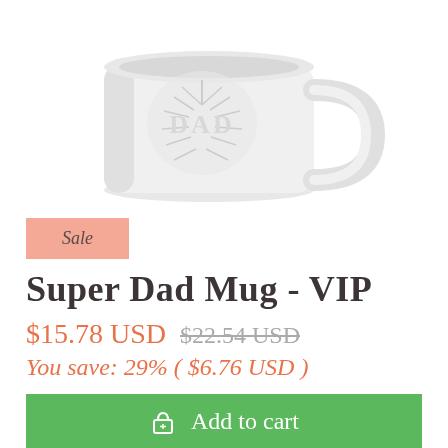[Figure (photo): White ceramic Super Dad mug with embossed leaf/floral design and handle, photographed against white background]
Sale
Super Dad Mug - VIP
$15.78 USD $22.54 USD
You save: 29% ( $6.76 USD )
Add to cart